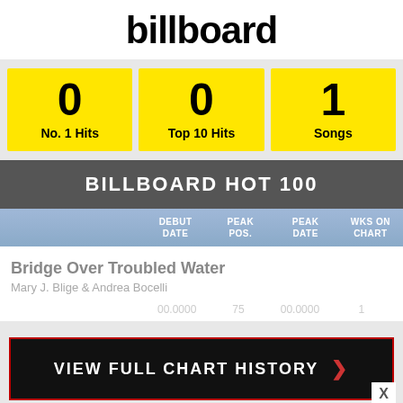billboard
0 No. 1 Hits
0 Top 10 Hits
1 Songs
BILLBOARD HOT 100
| DEBUT DATE | PEAK POS. | PEAK DATE | WKS ON CHART |
| --- | --- | --- | --- |
| Bridge Over Troubled Water | Mary J. Blige & Andrea Bocelli |  |  |  |  |
VIEW FULL CHART HISTORY >